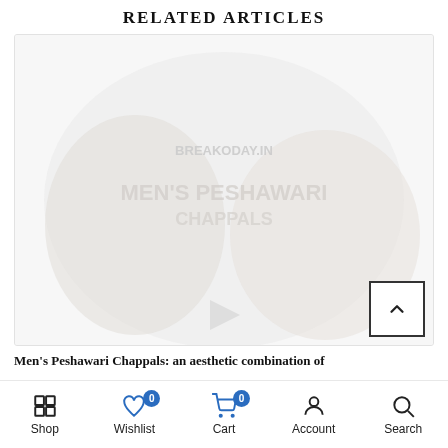RELATED ARTICLES
[Figure (photo): A faded/watermarked image of men's Peshwari chappals/sandals, shown against a light background. The image appears washed out with overlaid text watermark.]
Men's Peshawari Chappals: an aesthetic combination of
Shop  Wishlist 0  Cart 0  Account  Search